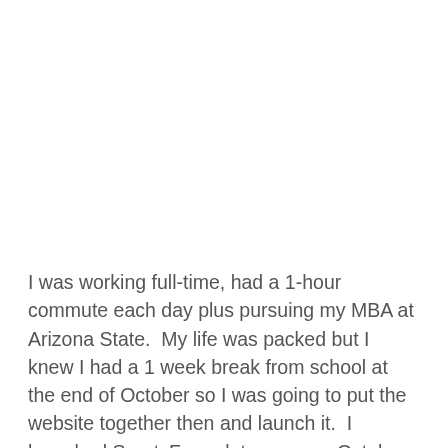I was working full-time, had a 1-hour commute each day plus pursuing my MBA at Arizona State.  My life was packed but I knew I had a 1 week break from school at the end of October so I was going to put the website together then and launch it.  I launched SportsFormulator.com on October 30 with the start of the NBA season.  I put up projected season win totals and opening night scores for 3 games.  I have no technical expertise.  I took HTML